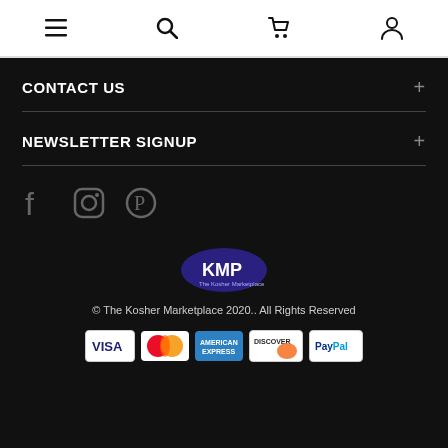Navigation header with menu, search, cart, and account icons
CONTACT US
NEWSLETTER SIGNUP
[Figure (other): Social media icons: Facebook, Instagram, Pinterest]
[Figure (logo): KMP - The Kosher Marketplace oval logo in blue/purple]
© The Kosher Marketplace 2020.. All Rights Reserved
[Figure (other): Payment icons: VISA, Mastercard, American Express, Discover, PayPal]